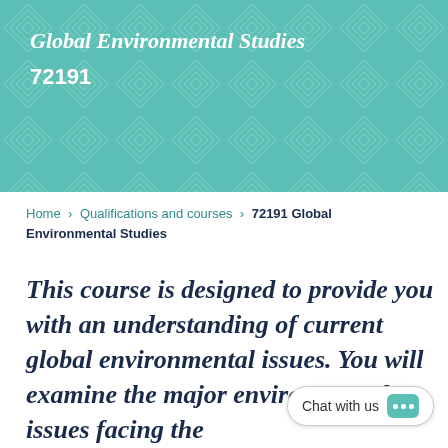Global Environmental Studies
72191
Home > Qualifications and courses > 72191 Global Environmental Studies
This course is designed to provide you with an understanding of current global environmental issues. You will examine the major environmental issues facing the